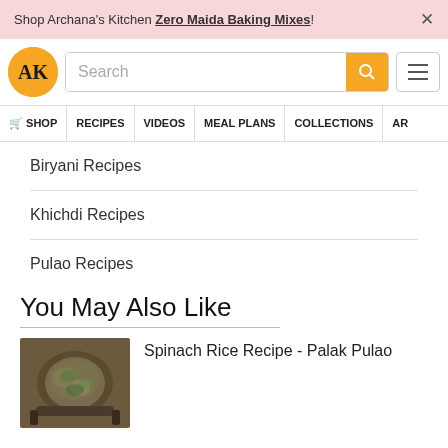Shop Archana's Kitchen Zero Maida Baking Mixes! ×
[Figure (logo): AK circular logo in gold/orange]
Search
🛒 SHOP
RECIPES
VIDEOS
MEAL PLANS
COLLECTIONS
AR
Biryani Recipes
Khichdi Recipes
Pulao Recipes
You May Also Like
Spinach Rice Recipe - Palak Pulao